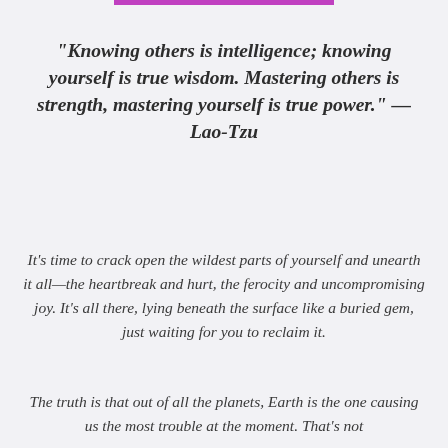"Knowing others is intelligence; knowing yourself is true wisdom. Mastering others is strength, mastering yourself is true power." — Lao-Tzu
It's time to crack open the wildest parts of yourself and unearth it all—the heartbreak and hurt, the ferocity and uncompromising joy. It's all there, lying beneath the surface like a buried gem, just waiting for you to reclaim it.
The truth is that out of all the planets, Earth is the one causing us the most trouble at the moment. That's not